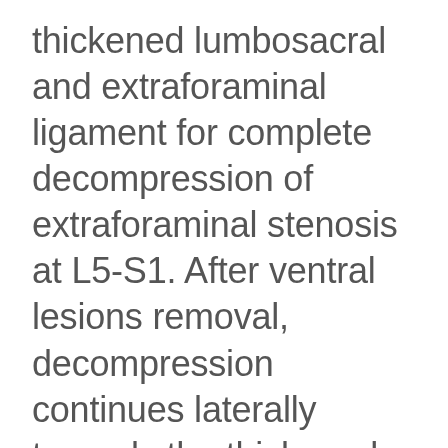thickened lumbosacral and extraforaminal ligament for complete decompression of extraforaminal stenosis at L5-S1. After ventral lesions removal, decompression continues laterally towards the thickened lumbosacral and extraforaminal ligament. The L5 root is